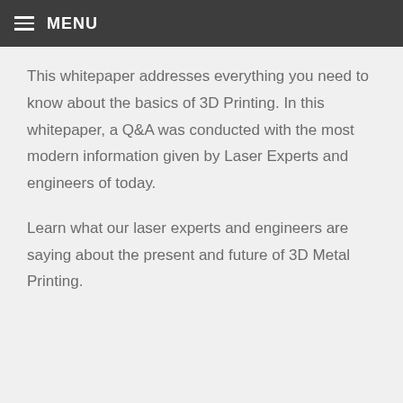MENU
This whitepaper addresses everything you need to know about the basics of 3D Printing. In this whitepaper, a Q&A was conducted with the most modern information given by Laser Experts and engineers of today.
Learn what our laser experts and engineers are saying about the present and future of 3D Metal Printing.